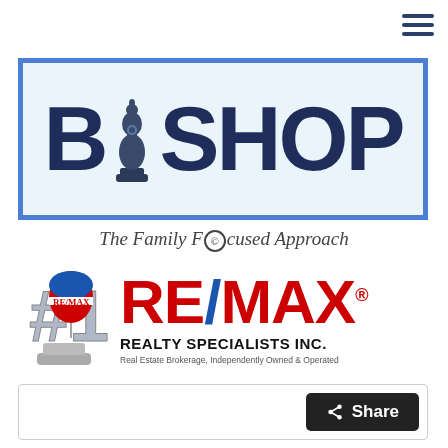[Figure (logo): Hamburger menu icon (three horizontal lines) in dark navy blue, top right corner]
[Figure (logo): BISHOP logo in large dark navy bold letters with a chess bishop piece replacing the letter I, inside a light blue rectangle with a blue border. Tagline below: The Family Focused Approach]
The Family Focused Approach
[Figure (logo): RE/MAX Realty Specialists Inc. logo with #1 silver trophy and hot air balloon on the left, and RE/MAX text in red and blue on the right. Subtitle: REALTY SPECIALISTS INC. Sub-text: Real Estate Brokerage, Independently Owned & Operated]
[Figure (screenshot): White content box with a dark Share button in the bottom right corner]